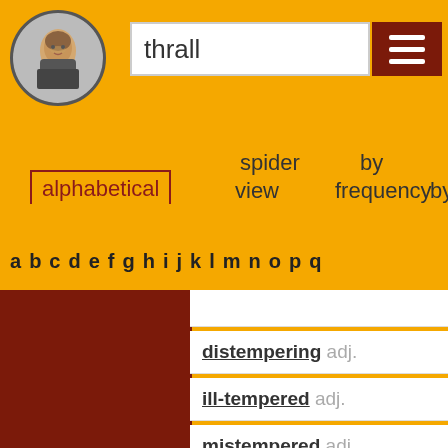[Figure (illustration): Shakespeare portrait icon in circular frame]
thrall
alphabetical
spider view
by frequency by
a b c d e f g h i j k l m n o p q
distempering adj.
ill-tempered adj.
mistempered adj.